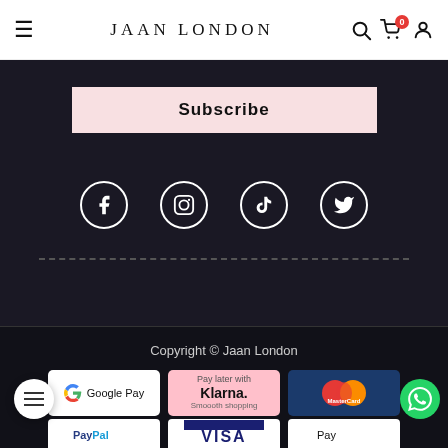JAAN LONDON
Subscribe
[Figure (illustration): Social media icons: Facebook, Instagram, TikTok, Twitter — white circle outlines on dark background]
Copyright © Jaan London
[Figure (illustration): Payment method logos: Google Pay, Klarna (Pay later with Klarna. Smoooth shopping), MasterCard, PayPal, VISA, Apple Pay]